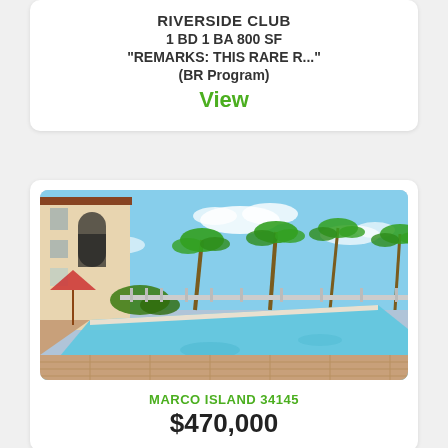RIVERSIDE CLUB
1 BD 1 BA 800 SF
"REMARKS: THIS RARE R..."
(BR Program)
View
[Figure (photo): Outdoor pool area with palm trees and a multi-story building in the background under blue skies]
MARCO ISLAND 34145
$470,000